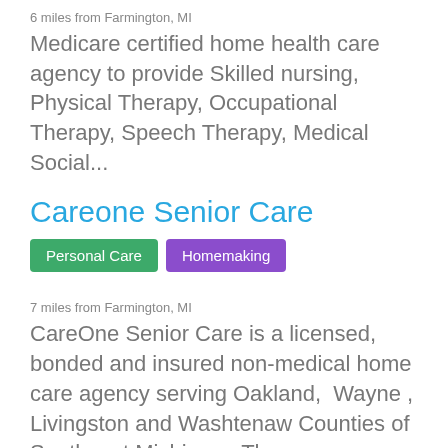6 miles from Farmington, MI
Medicare certified home health care agency to provide Skilled nursing, Physical Therapy, Occupational Therapy, Speech Therapy, Medical Social...
Careone Senior Care
Personal Care
Homemaking
7 miles from Farmington, MI
CareOne Senior Care is a licensed, bonded and insured non-medical home care agency serving Oakland,  Wayne , Livingston and Washtenaw Counties of Southeast Michigan.  The...